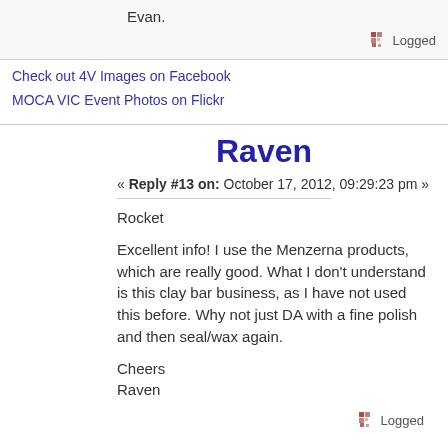Evan.
Logged
Check out 4V Images on Facebook
MOCA VIC Event Photos on Flickr
Raven
« Reply #13 on: October 17, 2012, 09:29:23 pm »
Rocket

Excellent info! I use the Menzerna products, which are really good. What I don't understand is this clay bar business, as I have not used this before. Why not just DA with a fine polish and then seal/wax again.

Cheers
Raven
Logged